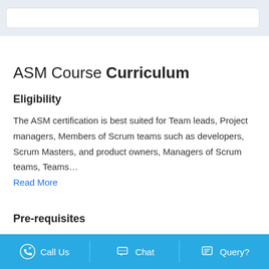ASM Course Curriculum
Eligibility
The ASM certification is best suited for Team leads, Project managers, Members of Scrum teams such as developers, Scrum Masters, and product owners, Managers of Scrum teams, Teams…
Read More
Pre-requisites
Learners need to possess an undergraduate degree or a high
Call Us   Chat   Query?